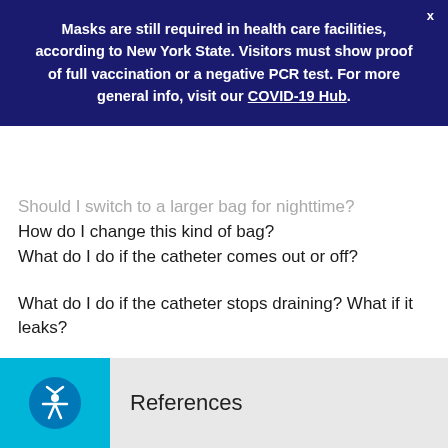Masks are still required in health care facilities, according to New York State. Visitors must show proof of full vaccination or a negative PCR test. For more general info, visit our COVID-19 Hub.
Should I switch to a larger bag for nighttime? How do I change this kind of bag?
What do I do if the catheter comes out or off?
What do I do if the catheter stops draining? What if it leaks?
What are the signs that I have an infection?
References